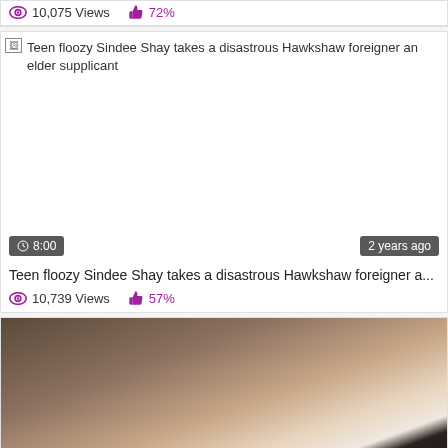10,075 Views   72%
[Figure (screenshot): Video thumbnail showing broken image with alt text: Teen floozy Sindee Shay takes a disastrous Hawkshaw foreigner an elder supplicant. Duration badge: 8:00, age badge: 2 years ago]
Teen floozy Sindee Shay takes a disastrous Hawkshaw foreigner a...
10,739 Views   57%
[Figure (photo): Partial photo showing a person with dark hair lying down]